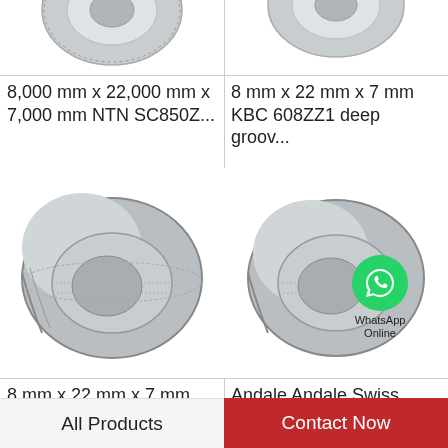[Figure (photo): Partial photo of a mechanical bearing or fastener component, top-left, cropped at top]
8,000 mm x 22,000 mm x 7,000 mm NTN SC850Z...
[Figure (photo): Partial photo of a deep groove ball bearing, top-right, cropped at top]
8 mm x 22 mm x 7 mm KBC 608ZZ1 deep groov...
[Figure (photo): Photo of a tapered roller bearing set, KOYO NC708V]
8 mm x 22 mm x 7 mm KOYO NC708V deep...
[Figure (photo): Photo of a tapered roller bearing with WhatsApp Online badge overlay. Text: WhatsApp Online]
Andale Andale Swiss skateboard bearings
All Products
Contact Now